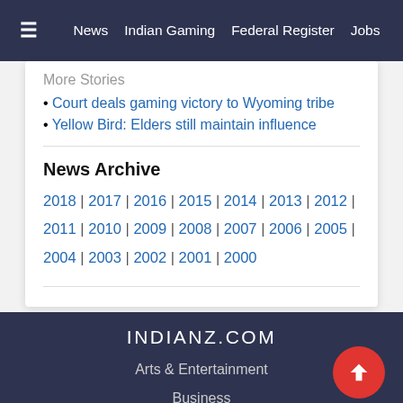≡   News   Indian Gaming   Federal Register   Jobs
More Stories
Court deals gaming victory to Wyoming tribe
Yellow Bird: Elders still maintain influence
News Archive
2018 | 2017 | 2016 | 2015 | 2014 | 2013 | 2012 | 2011 | 2010 | 2009 | 2008 | 2007 | 2006 | 2005 | 2004 | 2003 | 2002 | 2001 | 2000
INDIANZ.COM Arts & Entertainment Business Canada Cobell Education